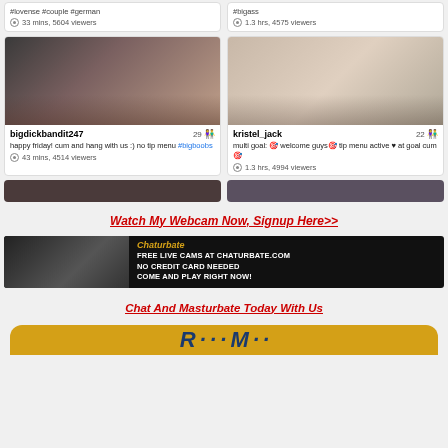#lovense #couple #german — 33 mins, 5604 viewers
#bigass — 1.3 hrs, 4575 viewers
[Figure (photo): Thumbnail for bigdickbandit247 stream]
bigdickbandit247 29 — happy friday! cum and hang with us :) no tip menu #bigboobs — 43 mins, 4514 viewers
[Figure (photo): Thumbnail for kristel_jack stream]
kristel_jack 22 — multi goal: welcome guys tip menu active ♥ at goal cum — 1.3 hrs, 4994 viewers
[Figure (photo): Partial thumbnails at bottom]
Watch My Webcam Now, Signup Here>>
[Figure (screenshot): Chaturbate banner ad: FREE LIVE CAMS AT CHATURBATE.COM NO CREDIT CARD NEEDED COME AND PLAY RIGHT NOW!]
Chat And Masturbate Today With Us
[Figure (illustration): Yellow/gold button partially visible at bottom]